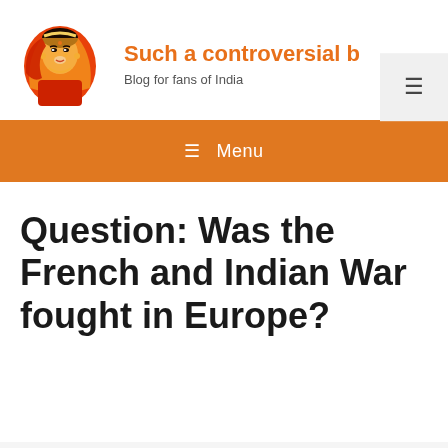[Figure (logo): Illustrated logo of an Indian woman in traditional red and orange attire with jewelry and headscarf]
Such a controversial b...
Blog for fans of India
[Figure (other): Hamburger menu icon button in a light grey box]
≡ Menu
Question: Was the French and Indian War fought in Europe?